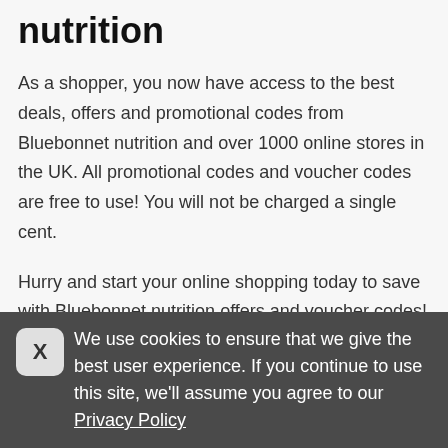nutrition
As a shopper, you now have access to the best deals, offers and promotional codes from Bluebonnet nutrition and over 1000 online stores in the UK. All promotional codes and voucher codes are free to use! You will not be charged a single cent.
Hurry and start your online shopping today to save with Bluebonnet nutrition offers and voucher codes! In the process, you will get extra discounts too.
Bluebonnet nutrition voucher codes
We use cookies to ensure that we give the best user experience. If you continue to use this site, we'll assume you agree to our Privacy Policy